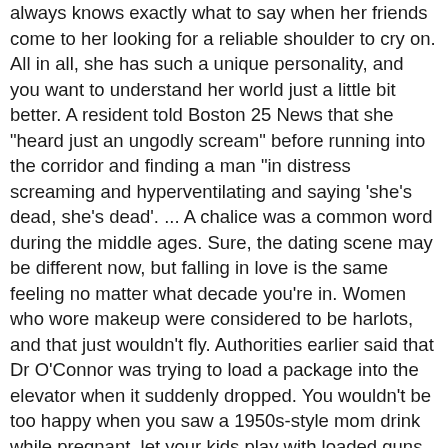always knows exactly what to say when her friends come to her looking for a reliable shoulder to cry on. All in all, she has such a unique personality, and you want to understand her world just a little bit better. A resident told Boston 25 News that she "heard just an ungodly scream" before running into the corridor and finding a man "in distress screaming and hyperventilating and saying 'she's dead, she's dead'. ... A chalice was a common word during the middle ages. Sure, the dating scene may be different now, but falling in love is the same feeling no matter what decade you're in. Women who wore makeup were considered to be harlots, and that just wouldn't fly. Authorities earlier said that Dr O'Connor was trying to load a package into the elevator when it suddenly dropped. You wouldn't be too happy when you saw a 1950s-style mom drink while pregnant, let your kids play with loaded guns, or have CPS show up after she lets your 7-year-old kids run around the neighborhood unattended. Child-rearing might also be a problem. Anyone from an unknown, low class, or "broken" home would be out of luck. The old-fashioned man is sensitive to the woman's needs; as far as he loves you then he